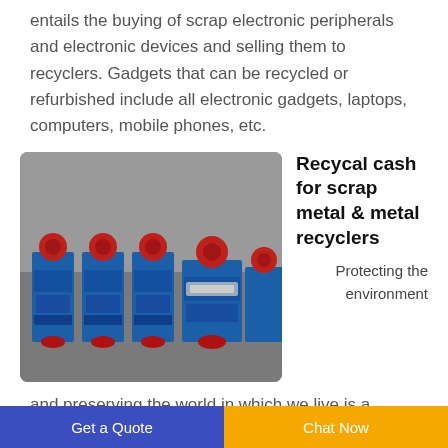entails the buying of scrap electronic peripherals and electronic devices and selling them to recyclers. Gadgets that can be recycled or refurbished include all electronic gadgets, laptops, computers, mobile phones, etc.
[Figure (photo): Row of blue industrial wire stripping/recycling machines with red components, displayed in a workshop or factory setting.]
Recycal cash for scrap metal & metal recyclers
Protecting the environment and preserving the world in which we live is a fundamental objective for the Rowe group of
Get a Quote   Chat Now